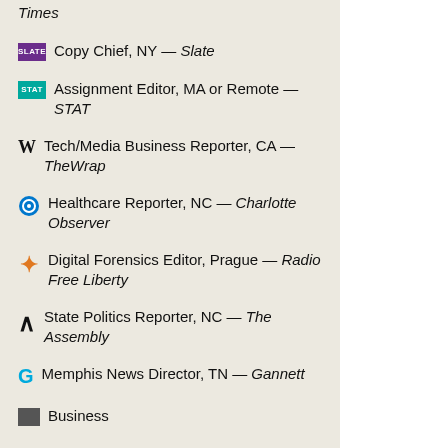Times
Copy Chief, NY — Slate
Assignment Editor, MA or Remote — STAT
Tech/Media Business Reporter, CA — TheWrap
Healthcare Reporter, NC — Charlotte Observer
Digital Forensics Editor, Prague — Radio Free Liberty
State Politics Reporter, NC — The Assembly
Memphis News Director, TN — Gannett
Business...